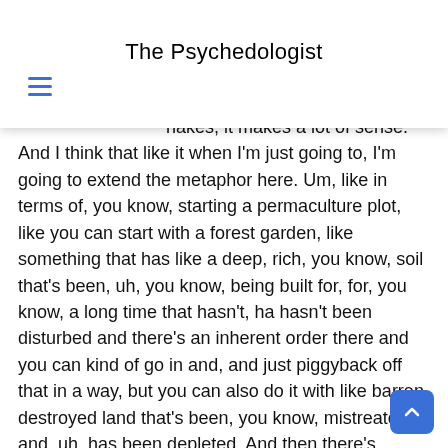The Psychedologist
progress on th… and just, you know, kind of b… s to continue their natural pr… here, move this here and ju… congruent with kind of the… nakes, it makes a lot of sense. And I think that like it when I'm just going to, I'm going to extend the metaphor here. Um, like in terms of, you know, starting a permaculture plot, like you can start with a forest garden, like something that has like a deep, rich, you know, soil that's been, uh, you know, being built for, for, you know, a long time that hasn't, ha hasn't been disturbed and there's an inherent order there and you can kind of go in and, and just piggyback off that in a way, but you can also do it with like barren, destroyed land that's been, you know, mistreated and, uh, has been depleted. And then there's practices that are specific to rebuild the soil there. And you might approach it kinda two different wa… And I feel like there's something there around how you might intervene or, or you know, add psychedelics into the mix where…